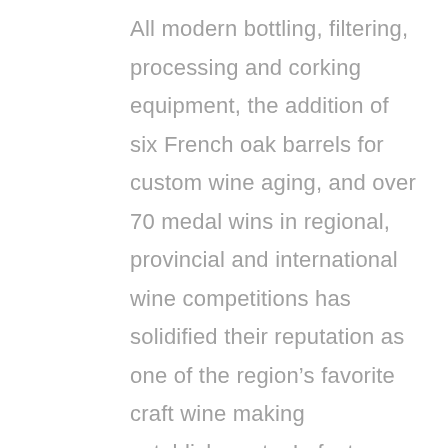All modern bottling, filtering, processing and corking equipment, the addition of six French oak barrels for custom wine aging, and over 70 medal wins in regional, provincial and international wine competitions has solidified their reputation as one of the region’s favorite craft wine making establishments. In fact, Conner’s Wine Cellar has been voted “Chilliwack’s Best U-Vin/U-Brew” by the Chilliwack Progress A-List for the sixth straight year